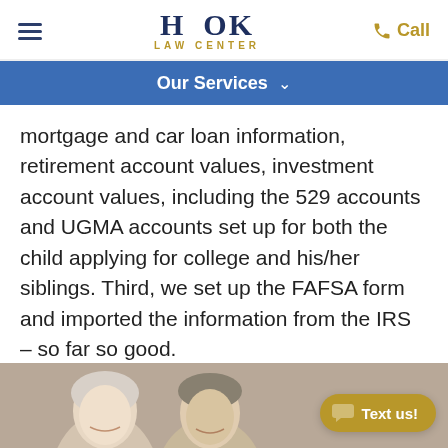Hook Law Center
Our Services
mortgage and car loan information, retirement account values, investment account values, including the 529 accounts and UGMA accounts set up for both the child applying for college and his/her siblings. Third, we set up the FAFSA form and imported the information from the IRS – so far so good.
[Figure (photo): Two older adults, a woman and a man, smiling, photographed from shoulders up]